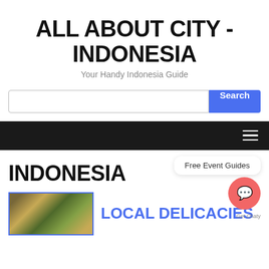ALL ABOUT CITY - INDONESIA
Your Handy Indonesia Guide
[Figure (screenshot): Search input field with Search button]
[Figure (screenshot): Dark navigation bar with hamburger menu icon]
INDONESIA
[Figure (photo): Food photo - local Indonesian dishes]
Free Event Guides
LOCAL DELICACIES
[Figure (illustration): Chat widget circle button with Get Chaty label]